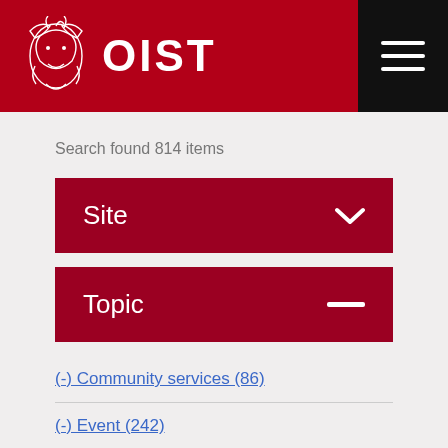OIST
Search found 814 items
Site
Topic
(-) Community services (86)
(-) Event (242)
(-) Policy library (402)